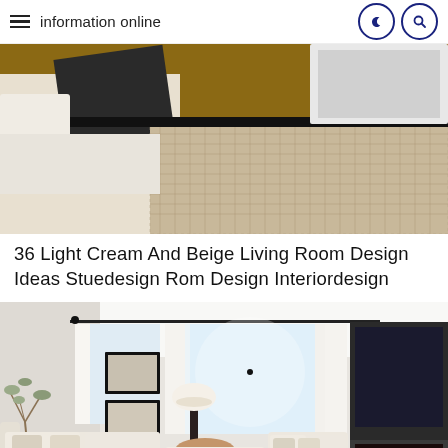information online
[Figure (photo): Close-up view of a beige/cream living room corner showing a white sofa with dark throw blanket, a woven rug, and hardwood flooring with a large white-framed mirror]
36 Light Cream And Beige Living Room Design Ideas Stuedesign Rom Design Interiordesign
[Figure (photo): Bright, airy living room with cream sofas, white curtains, large windows with natural light, decorative wall art, dark lamp, and a fireplace on the right side]